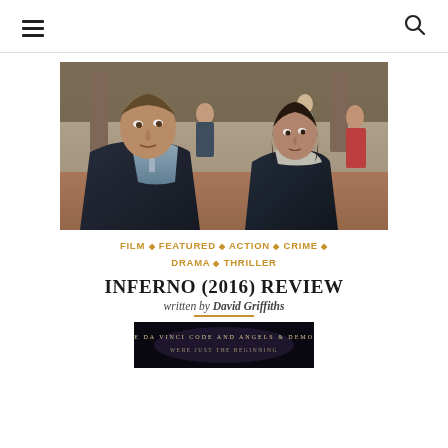≡  🔍
[Figure (photo): Movie still from Inferno (2016) showing two actors — a man in a dark suit looking upward and a woman in a dark jacket — inside what appears to be a large ornate building with other people in the background.]
FILM ◇ FEATURED ◇ ACTION ◇ CRIME ◇ DRAMA ◇ THRILLER
INFERNO (2016) REVIEW
written by David Griffiths
[Figure (photo): Partial view of what appears to be a movie poster or promotional image for Inferno, showing text 'The Da Vinci Code and Angels & Demons were just the beginning']